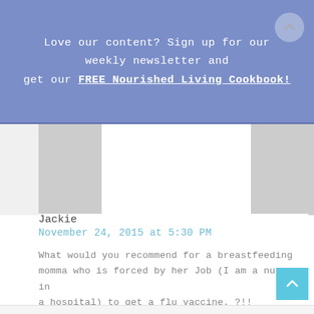Love our content? Sign up for our weekly newsletter and get our FREE Nourished Living Cookbook!
[Figure (photo): Two partially visible image placeholders (gray rectangles) on white background, representing cropped photos]
Jackie
November 24, 2015 at 5:30 PM
What would you recommend for a breastfeeding momma who is forced by her Job (I am a nurse in a hospital) to get a flu vaccine. ?!!
Please help!
Reply